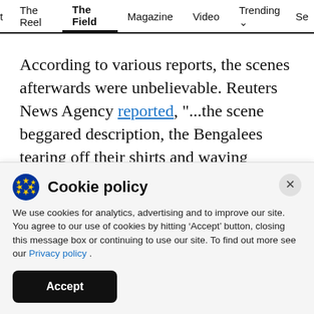t  The Reel  The Field  Magazine  Video  Trending  Se
According to various reports, the scenes afterwards were unbelievable. Reuters News Agency reported, "...the scene beggared description, the Bengalees tearing off their shirts and waving them....". The Mussalman, another influential newspaper of that time, reported, "The members of the Muslim
Cookie policy
We use cookies for analytics, advertising and to improve our site. You agree to our use of cookies by hitting ‘Accept’ button, closing this message box or continuing to use our site. To find out more see our Privacy policy .
Accept